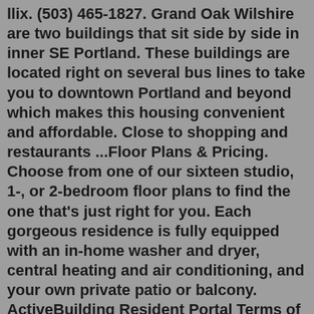llix. (503) 465-1827. Grand Oak Wilshire are two buildings that sit side by side in inner SE Portland. These buildings are located right on several bus lines to take you to downtown Portland and beyond which makes this housing convenient and affordable. Close to shopping and restaurants ...Floor Plans & Pricing. Choose from one of our sixteen studio, 1-, or 2-bedroom floor plans to find the one that's just right for you. Each gorgeous residence is fully equipped with an in-home washer and dryer, central heating and air conditioning, and your own private patio or balcony. ActiveBuilding Resident Portal Terms of Service Last Modified: February 2019 The following terms and conditions (these "Terms of Service"), govern a user's ("User ... Wilshire Landing Apartments in Wilmington, NC could be a good match. They're rated highly. You won't have issues with space in these apartments. The oversized closets easily fit all your belongings. Is fitness part of your daily routine? Stay active at the fitness center that's available for residents. And the gym isn't your only